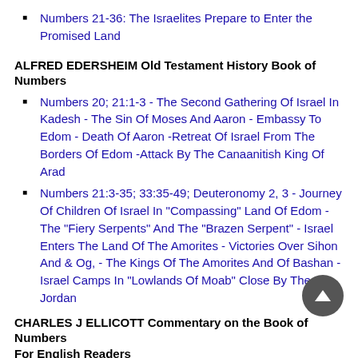Numbers 21-36: The Israelites Prepare to Enter the Promised Land
ALFRED EDERSHEIM Old Testament History Book of Numbers
Numbers 20; 21:1-3 - The Second Gathering Of Israel In Kadesh - The Sin Of Moses And Aaron - Embassy To Edom - Death Of Aaron -Retreat Of Israel From The Borders Of Edom -Attack By The Canaanitish King Of Arad
Numbers 21:3-35; 33:35-49; Deuteronomy 2, 3 - Journey Of Children Of Israel In "Compassing" Land Of Edom - The "Fiery Serpents" And The "Brazen Serpent" - Israel Enters The Land Of The Amorites - Victories Over Sihon And & Og, - The Kings Of The Amorites And Of Bashan - Israel Camps In "Lowlands Of Moab" Close By The Jordan
CHARLES J ELLICOTT Commentary on the Book of Numbers For English Readers
Numbers 21